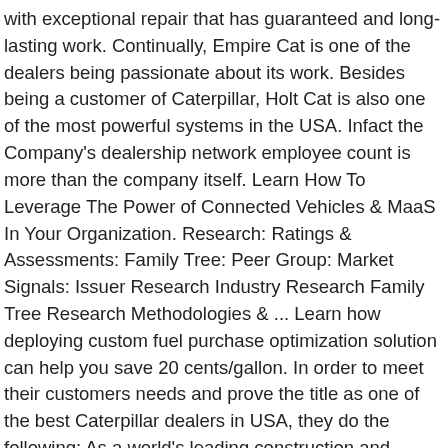with exceptional repair that has guaranteed and long-lasting work. Continually, Empire Cat is one of the dealers being passionate about its work. Besides being a customer of Caterpillar, Holt Cat is also one of the most powerful systems in the USA. Infact the Company's dealership network employee count is more than the company itself. Learn How To Leverage The Power of Connected Vehicles & MaaS In Your Organization. Research: Ratings & Assessments: Family Tree: Peer Group: Market Signals: Issuer Research Industry Research Family Tree Research Methodologies & ... Learn how deploying custom fuel purchase optimization solution can help you save 20 cents/gallon. In order to meet their customers needs and prove the title as one of the best Caterpillar dealers in USA, they do the following: As a world's leading construction and machinery manufacturer, Caterpillar has been making progress on every continent for more than 90 years. Through Alban, you can find offers of online business services to help streamline your bill paying, parts ordering and more. Caterpillar, the industrial behemoth that